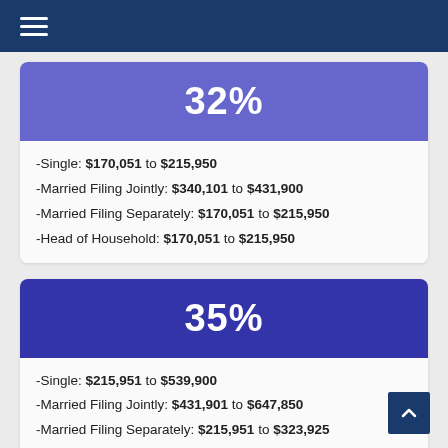Navigation menu
32%
-Single: $170,051 to $215,950
-Married Filing Jointly: $340,101 to $431,900
-Married Filing Separately: $170,051 to $215,950
-Head of Household: $170,051 to $215,950
35%
-Single: $215,951 to $539,900
-Married Filing Jointly: $431,901 to $647,850
-Married Filing Separately: $215,951 to $323,925
-Head of Household: $215,951 to $539,900